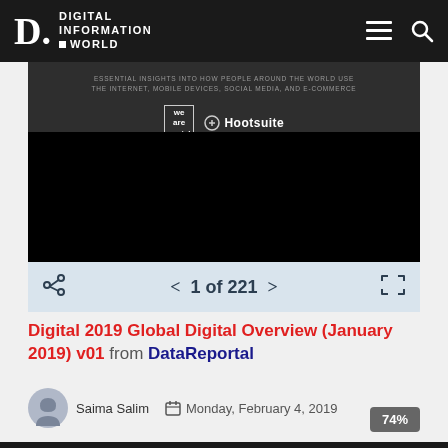DIGITAL INFORMATION WORLD
[Figure (screenshot): Document viewer showing a report cover page with text 'Essential insights into how people around the world use the internet, mobile devices, social media, and e-commerce' and logos for We Are Social and Hootsuite. Below is a black area representing the document content. A pagination bar shows '1 of 221'.]
Digital 2019 Global Digital Overview (January 2019) v01 from DataReportal
Saima Salim   Monday, February 4, 2019